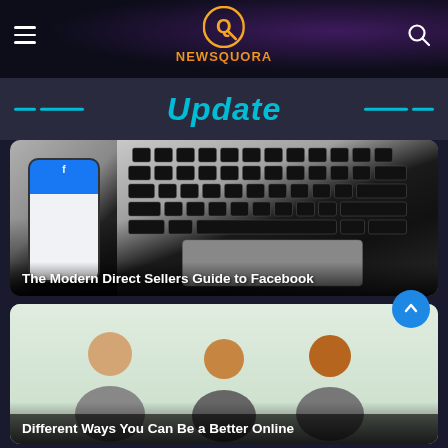NEWSQUORA
Update
[Figure (screenshot): Article thumbnail showing a laptop keyboard and a smartphone displaying Facebook app]
The Modern Direct Sellers Guide to Facebook
[Figure (photo): Article thumbnail showing people in a bright indoor setting]
Different Ways You Can Be a Better Online